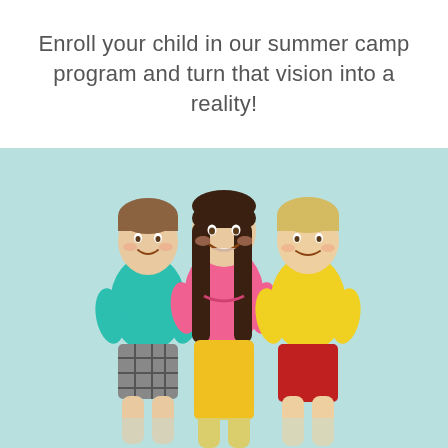Enroll your child in our summer camp program and turn that vision into a reality!
[Figure (photo): Three smiling children standing together against a light teal/mint background. Left child wears a teal t-shirt and plaid shorts, middle child (girl) wears a pink t-shirt and yellow pants, right child wears a yellow t-shirt and red shorts.]